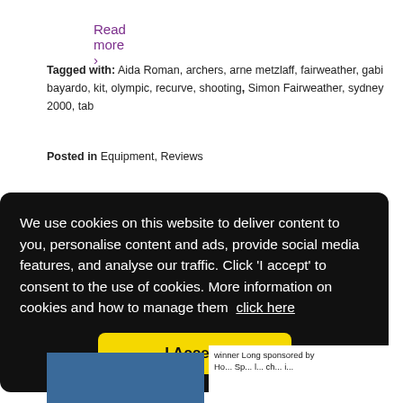Read more ›
Tagged with: Aida Roman, archers, arne metzlaff, fairweather, gabi bayardo, kit, olympic, recurve, shooting, Simon Fairweather, sydney 2000, tab
Posted in Equipment, Reviews
We use cookies on this website to deliver content to you, personalise content and ads, provide social media features, and analyse our traffic. Click 'I accept' to consent to the use of cookies. More information on cookies and how to manage them  click here
I Accept